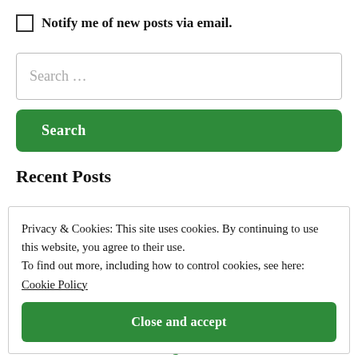Notify me of new posts via email.
Search ...
Search
Recent Posts
Privacy & Cookies: This site uses cookies. By continuing to use this website, you agree to their use. To find out more, including how to control cookies, see here: Cookie Policy
Close and accept
Shabbat Pinhas: Violence Begins At Home